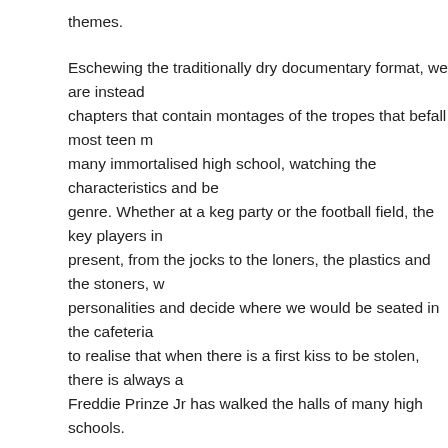themes.
Eschewing the traditionally dry documentary format, we are instead chapters that contain montages of the tropes that befall most teen m many immortalised high school, watching the characteristics and be genre. Whether at a keg party or the football field, the key players in present, from the jocks to the loners, the plastics and the stoners, w personalities and decide where we would be seated in the cafeteria to realise that when there is a first kiss to be stolen, there is always Freddie Prinze Jr has walked the halls of many high schools.
An accompanying narration, by teen alumni and proverbial onscree Craft), offers some creative and insightful observations into how the deeper level, something that is perhaps not often associated with te the surface, to be entirely superficial.
The film charts the period of the 90s to the mid 00s and if some artis definition of the teen genre from the 200 movies that are featured (c exist in the same world as Eurotrip?) director Charlie Lyne should be he has shown in trawling through the good, the bad and the downrig